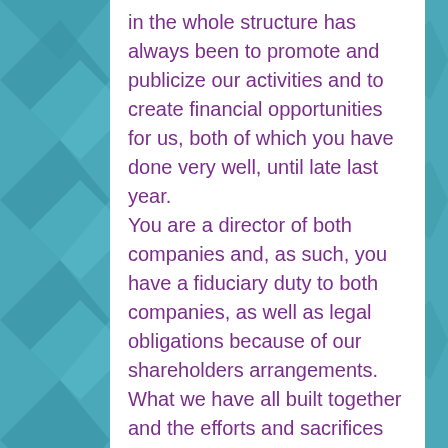in the whole structure has always been to promote and publicize our activities and to create financial opportunities for us, both of which you have done very well, until late last year.
You are a director of both companies and, as such, you have a fiduciary duty to both companies, as well as legal obligations because of our shareholders arrangements.
What we have all built together and the efforts and sacrifices we have all made along the way – none of this means anything to you when you see an opportunity to enrich yourself.
For more than a half year our company has been trying, through your own efforts, to raise money for a World Chess Championship match. In the 4th quarter of last year I worked